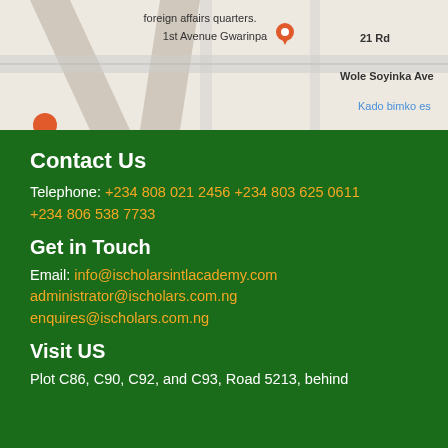[Figure (map): Google Maps partial view showing roads near foreign affairs quarters, 1st Avenue Gwarinpa, 21 Rd, Wole Soyinka Ave, Kado bimko estate area]
Contact Us
Telephone: +234 808 021 2456 +234 803 625 0611 +234 806 538 7733
Get in Touch
Email: info@ischolarsintlacademy.com administrator@ischolars.com.ng enquires@ischolars.com.ng
Visit US
Plot C86, C90, C92, and C93, Road 5213, behind